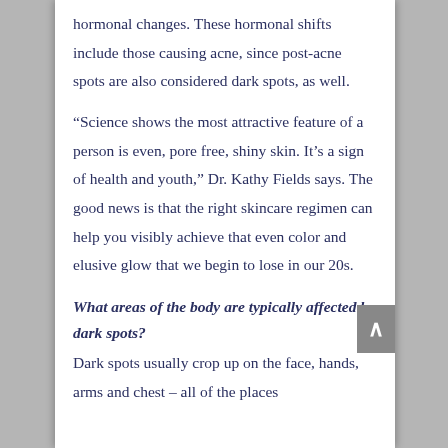hormonal changes. These hormonal shifts include those causing acne, since post-acne spots are also considered dark spots, as well.
“Science shows the most attractive feature of a person is even, pore free, shiny skin. It’s a sign of health and youth,” Dr. Kathy Fields says. The good news is that the right skincare regimen can help you visibly achieve that even color and elusive glow that we begin to lose in our 20s.
What areas of the body are typically affected by dark spots?
Dark spots usually crop up on the face, hands, arms and chest – all of the places